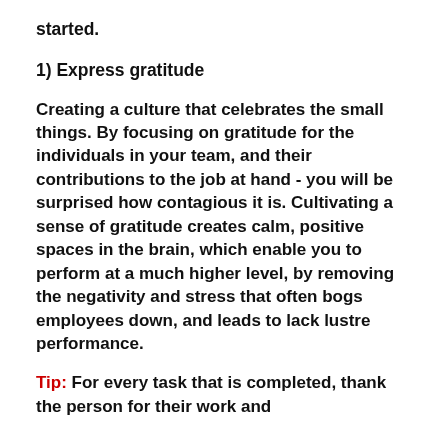started.
1) Express gratitude
Creating a culture that celebrates the small things. By focusing on gratitude for the individuals in your team, and their contributions to the job at hand - you will be surprised how contagious it is. Cultivating a sense of gratitude creates calm, positive spaces in the brain, which enable you to perform at a much higher level, by removing the negativity and stress that often bogs employees down, and leads to lack lustre performance.
Tip: For every task that is completed, thank the person for their work and